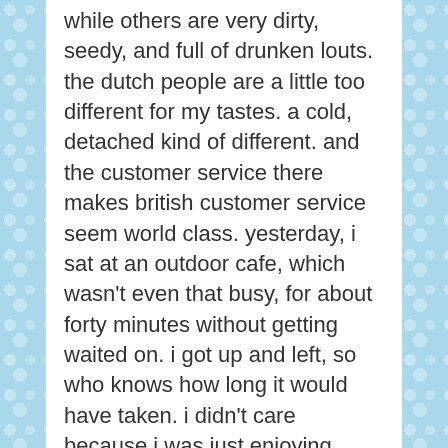while others are very dirty, seedy, and full of drunken louts. the dutch people are a little too different for my tastes. a cold, detached kind of different. and the customer service there makes british customer service seem world class. yesterday, i sat at an outdoor cafe, which wasn't even that busy, for about forty minutes without getting waited on. i got up and left, so who knows how long it would have taken. i didn't care because i was just enjoying hanging out there and people watching. but it makes you wonder how they make money. once people do get waited on, they usually come out there for hours. in the classic